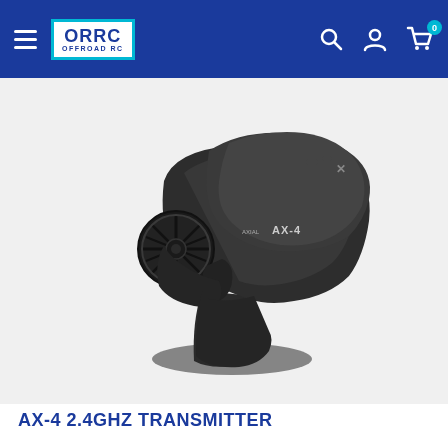ORRC OFFROAD RC — navigation header with hamburger menu, logo, search icon, account icon, cart icon with badge 0
[Figure (photo): AX-4 2.4GHz RC transmitter/controller in black, shown at an angle. It has a steering wheel on the left side, a pistol grip handle, and 'AX-4' branding on the body. The background is light gray/white.]
AX-4 2.4GHZ TRANSMITTER